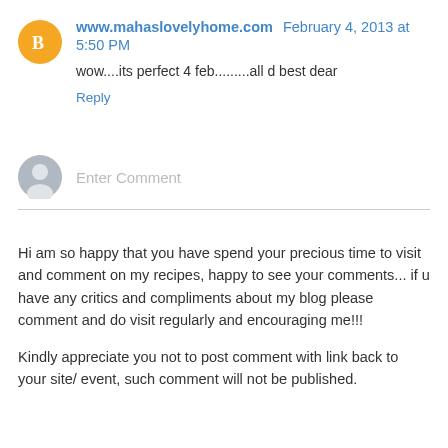www.mahaslovelyhome.com February 4, 2013 at 5:50 PM
wow....its perfect 4 feb.........all d best dear
Reply
Enter Comment
Hi am so happy that you have spend your precious time to visit and comment on my recipes, happy to see your comments... if u have any critics and compliments about my blog please comment and do visit regularly and encouraging me!!!
Kindly appreciate you not to post comment with link back to your site/ event, such comment will not be published.